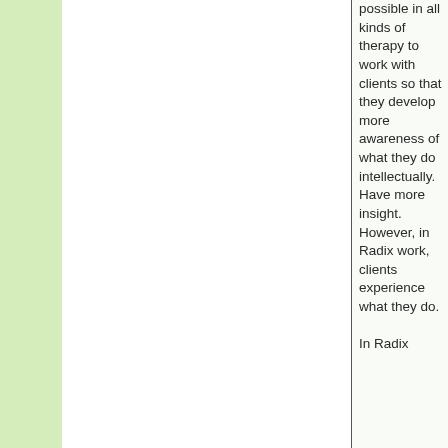possible in all kinds of therapy to work with clients so that they develop more awareness of what they do intellectually. Have more insight. However, in Radix work, clients experience what they do.

In Radix